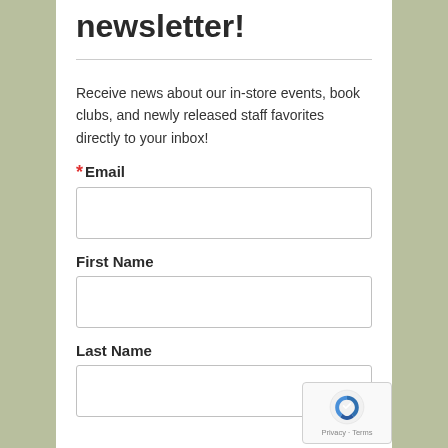newsletter!
Receive news about our in-store events, book clubs, and newly released staff favorites directly to your inbox!
* Email
First Name
Last Name